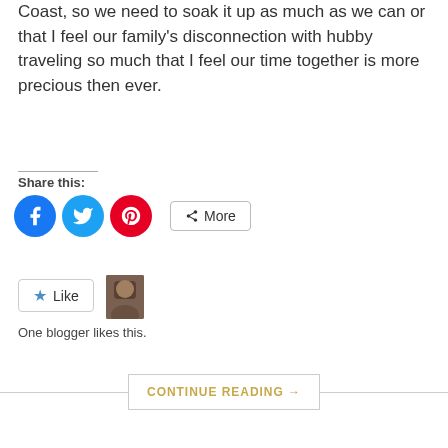Coast, so we need to soak it up as much as we can or that I feel our family's disconnection with hubby traveling so much that I feel our time together is more precious then ever.
Share this:
[Figure (other): Social share buttons: Facebook (blue circle), Twitter (light blue circle), Pinterest (red circle), and a More button with share icon]
[Figure (other): Like button with star icon and a blogger avatar thumbnail. Text: One blogger likes this.]
One blogger likes this.
CONTINUE READING →